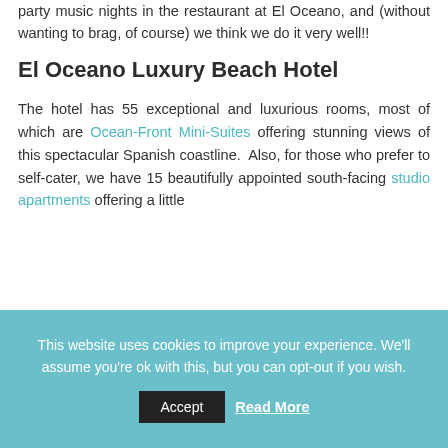party music nights in the restaurant at El Oceano, and (without wanting to brag, of course) we think we do it very well!!
El Oceano Luxury Beach Hotel
The hotel has 55 exceptional and luxurious rooms, most of which are Ocean-Front Mini-Suites offering stunning views of this spectacular Spanish coastline. Also, for those who prefer to self-cater, we have 15 beautifully appointed south-facing studio apartments offering a little privacy away from the main hotel...
This website uses cookies to improve your experience. We'll assume you're ok with this, but you can opt-out if you wish.